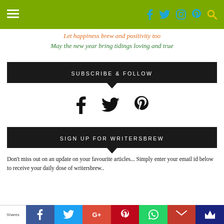Navigation bar with hamburger menu and social icons (facebook, twitter, instagram, pinterest, search) on olive/green background
Let happiness brew and positivity too
May the new year bring tidings loving and true
SUBSCRIBE & FOLLOW
[Figure (infographic): Social share icons: facebook, twitter, pinterest]
SIGN UP FOR WRITERSBREW
Don't miss out on an update on your favourite articles... Simply enter your email id below to receive your daily dose of writersbrew..
Email Address*
Shares | Facebook | Twitter | Google+ | Pinterest | WhatsApp | Gmail | Crown